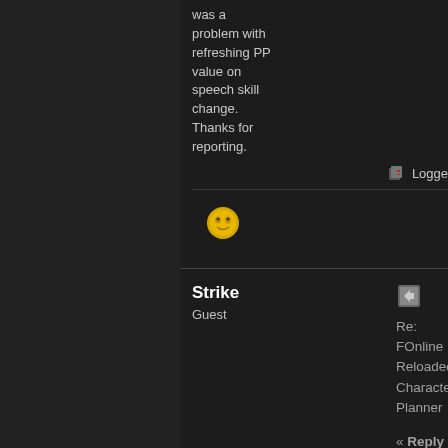was a problem with refreshing PP value on speech skill change. Thanks for reporting.
Logged
Strike
Guest
Re: FOnline Reloaded Character Planner « Reply #6 on: August 23, 2013, 08:39:19 pm »